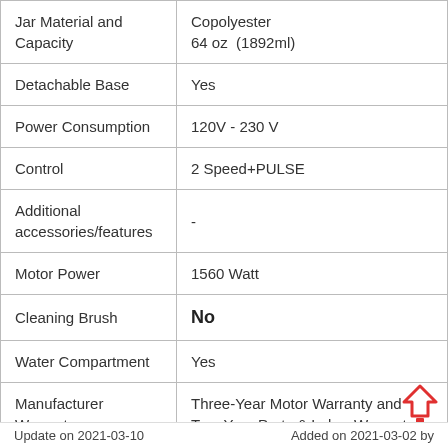| Specification | Value |
| --- | --- |
| Jar Material and Capacity | Copolyester
64 oz  (1892ml) |
| Detachable Base | Yes |
| Power Consumption | 120V - 230 V |
| Control | 2 Speed+PULSE |
| Additional accessories/features | - |
| Motor Power | 1560 Watt |
| Cleaning Brush | No |
| Water Compartment | Yes |
| Manufacturer Warranty | Three-Year Motor Warranty and Two-Year Parts & Labor Warranty |
Update on 2021-03-10          Added on 2021-03-02 by